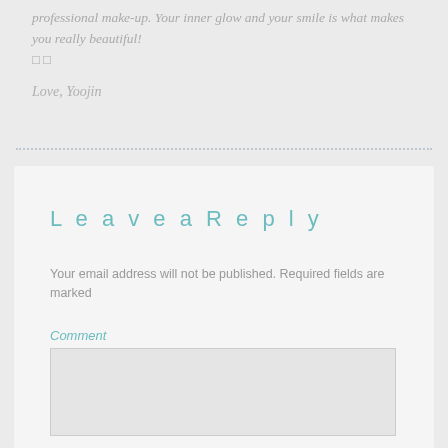professional make-up. Your inner glow and your smile is what makes you really beautiful!
□ □
Love, Yoojin
Leave a Reply
Your email address will not be published. Required fields are marked
Comment